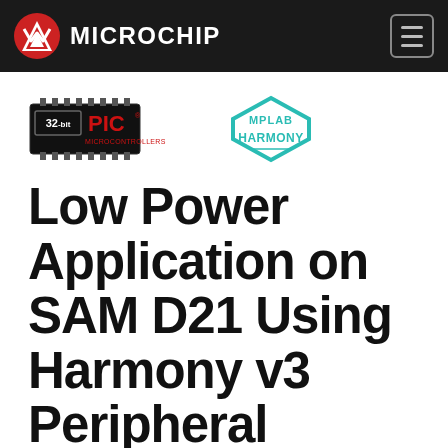Microchip
[Figure (logo): 32-bit PIC Microcontrollers logo and MPLAB Harmony logo side by side]
Low Power Application on SAM D21 Using Harmony v3 Peripheral Libraries: Step 6